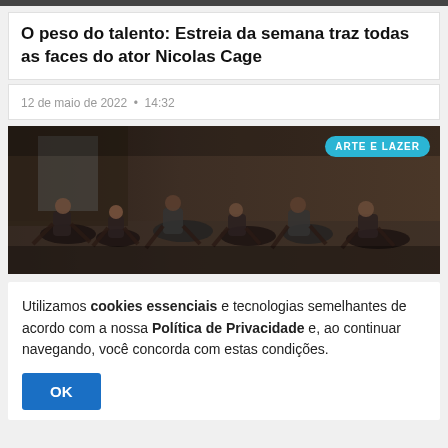O peso do talento: Estreia da semana traz todas as faces do ator Nicolas Cage
12 de maio de 2022 • 14:32
[Figure (photo): Group of people exercising or stretching on the floor in a large hall, with an 'ARTE E LAZER' badge in the top right corner]
Utilizamos cookies essenciais e tecnologias semelhantes de acordo com a nossa Política de Privacidade e, ao continuar navegando, você concorda com estas condições.
OK